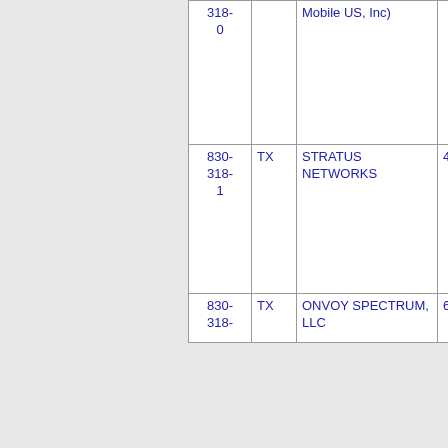| NPA-NXX | State | Company Name |  |
| --- | --- | --- | --- |
| 318-
0 | TX | Mobile US, Inc) |  |
| 830-
318-
1 | TX | STRATUS NETWORKS | 4 |
| 830-
318- | TX | ONVOY SPECTRUM, LLC | 6 |